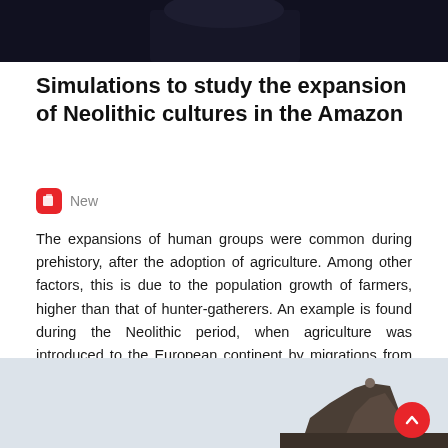[Figure (photo): Dark photograph cropped at top, showing a partial night or dark-sky scene]
Simulations to study the expansion of Neolithic cultures in the Amazon
New
The expansions of human groups were common during prehistory, after the adoption of agriculture. Among other factors, this is due to the population growth of farmers, higher than that of hunter-gatherers. An example is found during the Neolithic period, when agriculture was introduced to the European continent by migrations from the Middle East.
[Figure (photo): Photograph showing a rocky structure or ruined tower against a pale sky, partially visible at the bottom of the page]